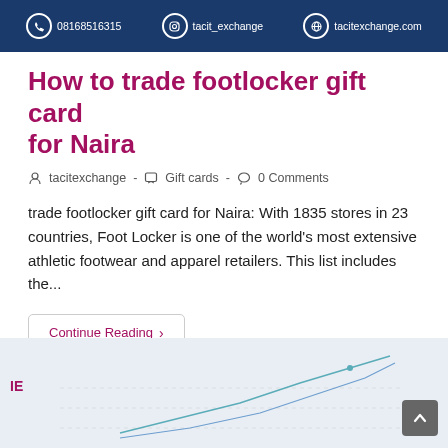08168516315  tacit_exchange  tacitexchange.com
How to trade footlocker gift card for Naira
tacitexchange  -  Gift cards  -  0 Comments
trade footlocker gift card for Naira: With 1835 stores in 23 countries, Foot Locker is one of the world's most extensive athletic footwear and apparel retailers. This list includes the...
Continue Reading ›
[Figure (screenshot): Partial screenshot of a card showing a line chart with upward trending lines on a light grey background, with 'IE' text label partially visible on the left side.]